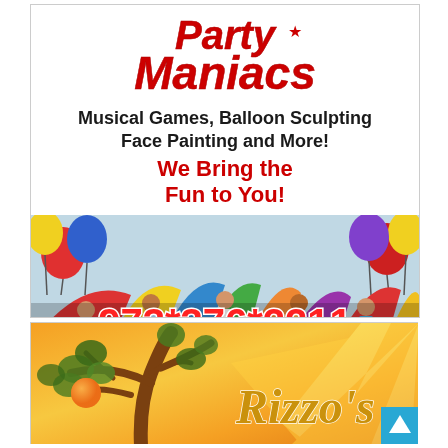[Figure (illustration): Party Maniacs advertisement banner. Top section shows the Party Maniacs logo in red italic bold text with a star, followed by text 'Musical Games, Balloon Sculpting Face Painting and More!' in bold black and 'We Bring the Fun to You!' in red bold. Below is a photo of children playing with a colorful parachute, with balloons on both sides. A large phone number '973*376*2211' in red with white outline appears at the bottom of the image.]
[Figure (illustration): Rizzo's advertisement banner with an orange/yellow gradient background with sun rays, a decorative tree illustration on the left, and 'Rizzo's' in gold italic serif text. A cyan scroll-to-top button with white arrow appears in the bottom right corner.]